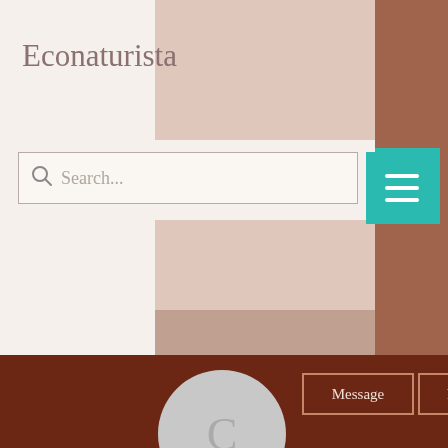Econaturista
[Figure (screenshot): Website header with search bar and hamburger menu button on a dusty rose/mauve background]
[Figure (screenshot): User profile section on dark brown background with avatar circle showing 'C', Message and Follow buttons]
Casino in idaho 24 hour slots ...
0 Followers • 0 Following
[Figure (screenshot): Social media share bar with email, Facebook, Twitter, Pinterest, and Google+ icons]